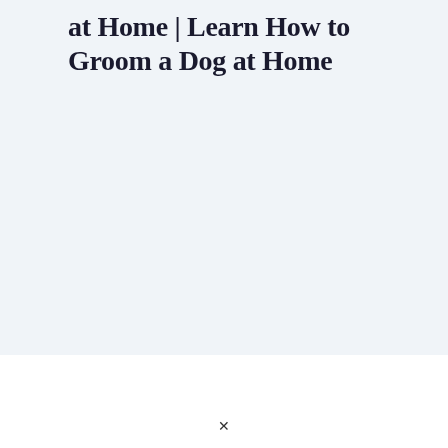at Home | Learn How to Groom a Dog at Home